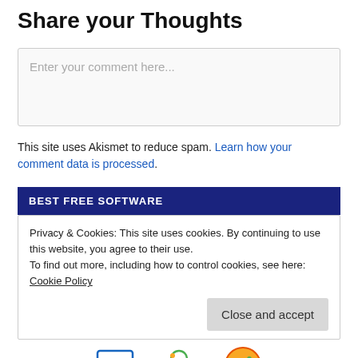Share your Thoughts
[Figure (other): Comment input text box with placeholder text 'Enter your comment here...']
This site uses Akismet to reduce spam. Learn how your comment data is processed.
BEST FREE SOFTWARE
Privacy & Cookies: This site uses cookies. By continuing to use this website, you agree to their use.
To find out more, including how to control cookies, see here: Cookie Policy
[Figure (other): Three small colorful icons at bottom of page (Live TV, person, cookie)]